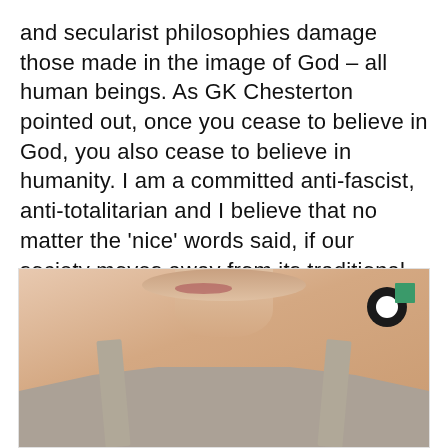and secularist philosophies damage those made in the image of God – all human beings. As GK Chesterton pointed out, once you cease to believe in God, you also cease to believe in humanity. I am a committed anti-fascist, anti-totalitarian and I believe that no matter the 'nice' words said, if our society moves away from its traditional Christian roots, then we will end up with an increasingly illiberal, confused and authoritarian society. I won't keep silent.
[Figure (photo): Photo of a person (upper body, face partially cropped at top) wearing a gray camisole/spaghetti strap top, with a branded logo overlay in the upper right corner of the image frame.]